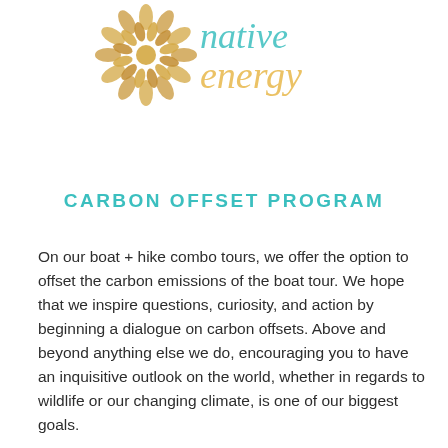[Figure (logo): Native Energy logo with decorative circular emblem in gold/tan color on the left and stylized italic text 'native energy' in teal/turquoise on the right]
CARBON OFFSET PROGRAM
On our boat + hike combo tours, we offer the option to offset the carbon emissions of the boat tour. We hope that we inspire questions, curiosity, and action by beginning a dialogue on carbon offsets. Above and beyond anything else we do, encouraging you to have an inquisitive outlook on the world, whether in regards to wildlife or our changing climate, is one of our biggest goals.